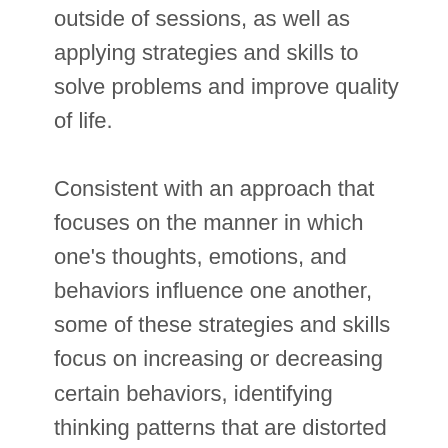outside of sessions, as well as applying strategies and skills to solve problems and improve quality of life.
Consistent with an approach that focuses on the manner in which one's thoughts, emotions, and behaviors influence one another, some of these strategies and skills focus on increasing or decreasing certain behaviors, identifying thinking patterns that are distorted or maladaptive, modifying beliefs, learning to mindfully identify cognitions and emotions, and learning to change interpersonal